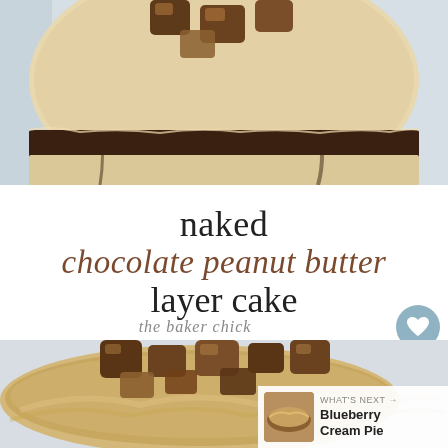[Figure (photo): Close-up top view of a naked chocolate peanut butter layer cake with peanut butter cups on top, cream-colored frosting visible, dark chocolate layer showing around sides, light blue background]
naked chocolate peanut butter layer cake
the baker chick
[Figure (photo): Side view of top of naked chocolate peanut butter layer cake with peanut butter frosting and chopped peanut butter cups on top, light grey background]